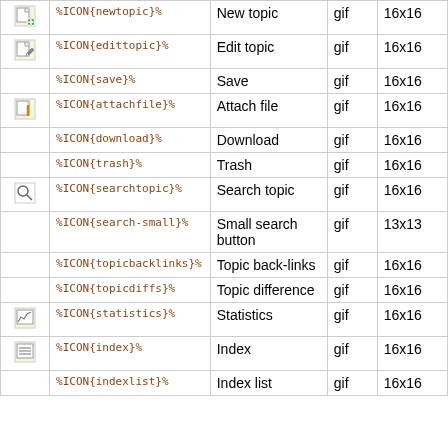|  | Variable | Description | Type | Size |
| --- | --- | --- | --- | --- |
| [icon] | %ICON{newtopic}% | New topic | gif | 16x16 |
| [icon] | %ICON{edittopic}% | Edit topic | gif | 16x16 |
|  | %ICON{save}% | Save | gif | 16x16 |
| [icon] | %ICON{attachfile}% | Attach file | gif | 16x16 |
|  | %ICON{download}% | Download | gif | 16x16 |
|  | %ICON{trash}% | Trash | gif | 16x16 |
| [icon] | %ICON{searchtopic}% | Search topic | gif | 16x16 |
|  | %ICON{search-small}% | Small search button | gif | 13x13 |
|  | %ICON{topicbacklinks}% | Topic back-links | gif | 16x16 |
|  | %ICON{topicdiffs}% | Topic difference | gif | 16x16 |
| [icon] | %ICON{statistics}% | Statistics | gif | 16x16 |
| [icon] | %ICON{index}% | Index | gif | 16x16 |
|  | %ICON{indexlist}% | Index list | gif | 16x16 |